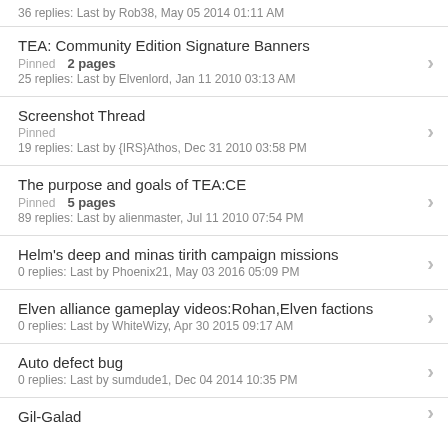36 replies: Last by Rob38, May 05 2014 01:11 AM
TEA: Community Edition Signature Banners
Pinned  2 pages
25 replies: Last by Elvenlord, Jan 11 2010 03:13 AM
Screenshot Thread
Pinned
19 replies: Last by {IRS}Athos, Dec 31 2010 03:58 PM
The purpose and goals of TEA:CE
Pinned  5 pages
89 replies: Last by alienmaster, Jul 11 2010 07:54 PM
Helm's deep and minas tirith campaign missions
0 replies: Last by Phoenix21, May 03 2016 05:09 PM
Elven alliance gameplay videos:Rohan,Elven factions
0 replies: Last by WhiteWizy, Apr 30 2015 09:17 AM
Auto defect bug
0 replies: Last by sumdude1, Dec 04 2014 10:35 PM
Gil-Galad